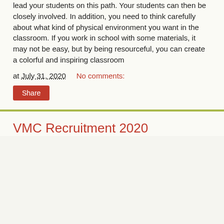lead your students on this path.  Your students can then be closely involved.  In addition, you need to think carefully about what kind of physical environment you want in the classroom.  If you work in school with some materials, it may not be easy, but by being resourceful, you can create a colorful and inspiring classroom
at July 31, 2020    No comments:
Share
VMC Recruitment 2020